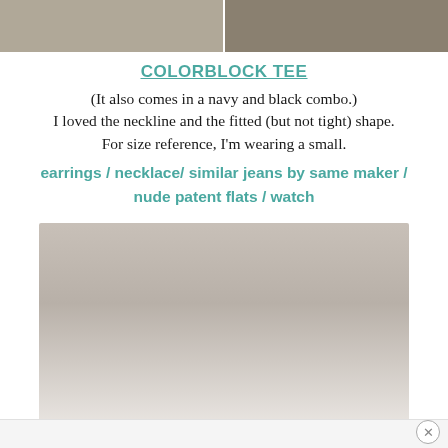[Figure (photo): Two side-by-side cropped photos showing the bottom half of a person wearing blue jeans and shoes, likely demonstrating a fashion outfit.]
COLORBLOCK TEE
(It also comes in a navy and black combo.) I loved the neckline and the fitted (but not tight) shape. For size reference, I'm wearing a small.
earrings / necklace/ similar jeans by same maker / nude patent flats / watch
[Figure (photo): A photo showing a fashion item or outfit, slightly blurred or low-contrast, displayed below the text description.]
×